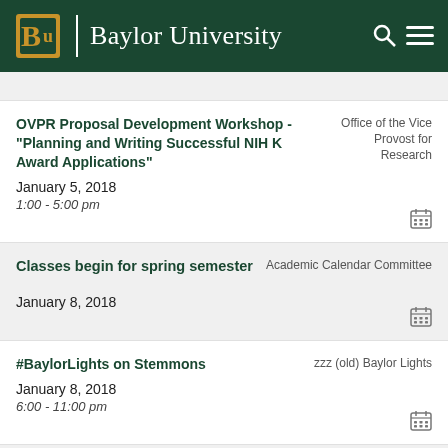Baylor University
OVPR Proposal Development Workshop - "Planning and Writing Successful NIH K Award Applications"
January 5, 2018
1:00 - 5:00 pm
Office of the Vice Provost for Research
Classes begin for spring semester
January 8, 2018
Academic Calendar Committee
#BaylorLights on Stemmons
January 8, 2018
6:00 - 11:00 pm
zzz (old) Baylor Lights
Lights Shine Bright Campus Introduction
zzz (old) Baylor Lights